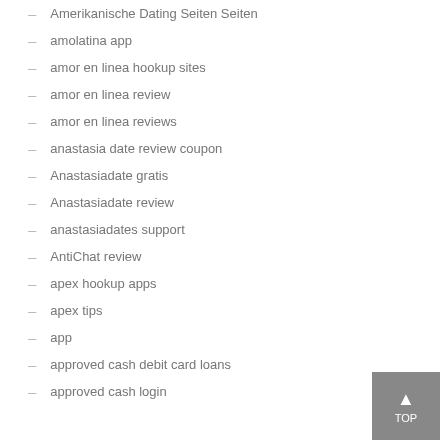Amerikanische Dating Seiten Seiten
amolatina app
amor en linea hookup sites
amor en linea review
amor en linea reviews
anastasia date review coupon
Anastasiadate gratis
Anastasiadate review
anastasiadates support
AntiChat review
apex hookup apps
apex tips
app
approved cash debit card loans
approved cash login